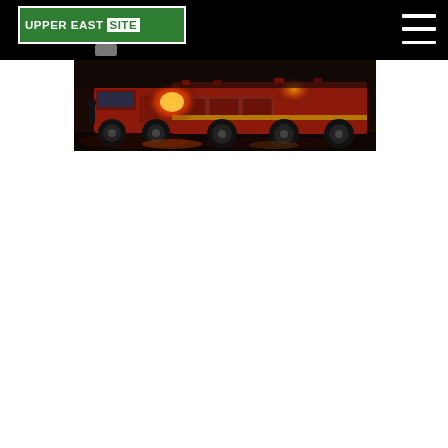Upper East Site - navigation header with logo and hamburger menu
[Figure (photo): Night scene showing a red FDNY fire truck with flashing lights on a wet street]